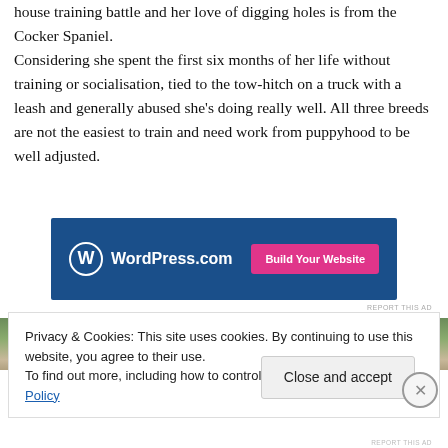house training battle and her love of digging holes is from the Cocker Spaniel. Considering she spent the first six months of her life without training or socialisation, tied to the tow-hitch on a truck with a leash and generally abused she's doing really well. All three breeds are not the easiest to train and need work from puppyhood to be well adjusted.
[Figure (other): WordPress.com advertisement banner with blue background, WordPress logo, and 'Build Your Website' pink button]
[Figure (photo): Partial photo of a dog outdoors]
Privacy & Cookies: This site uses cookies. By continuing to use this website, you agree to their use.
To find out more, including how to control cookies, see here: Cookie Policy